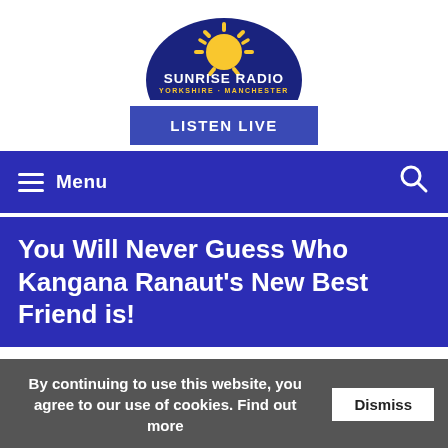[Figure (logo): Sunrise Radio Yorkshire Manchester logo with blue semicircle sun and yellow text]
LISTEN LIVE
Menu
You Will Never Guess Who Kangana Ranaut's New Best Friend is!
News Home
More from Showbiz & Media
Tuesday, September 11th, 2018 11:53am
By News @sunriseradiouk
By continuing to use this website, you agree to our use of cookies. Find out more  Dismiss